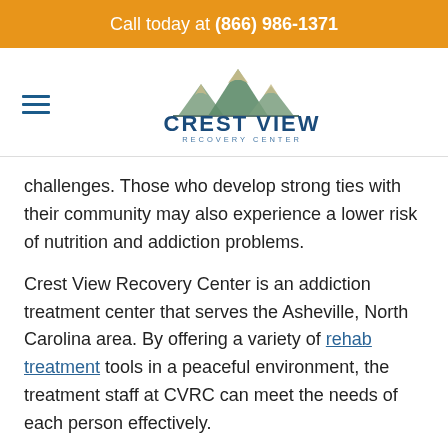Call today at (866) 986-1371
[Figure (logo): Crest View Recovery Center logo with mountain graphic above the text 'CREST VIEW RECOVERY CENTER']
challenges. Those who develop strong ties with their community may also experience a lower risk of nutrition and addiction problems.
Crest View Recovery Center is an addiction treatment center that serves the Asheville, North Carolina area. By offering a variety of rehab treatment tools in a peaceful environment, the treatment staff at CVRC can meet the needs of each person effectively.
Don't let a severe addiction stop you from living the kind of life you desire. A quality rehab center can give you